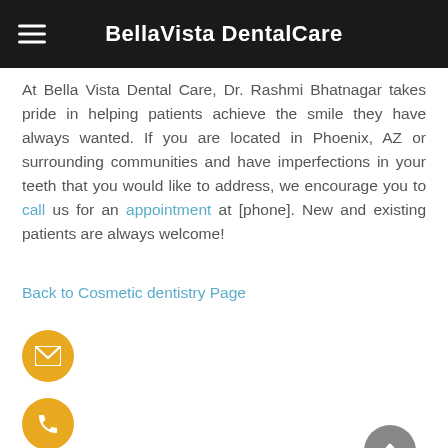BellaVista DentalCare
At Bella Vista Dental Care, Dr. Rashmi Bhatnagar takes pride in helping patients achieve the smile they have always wanted. If you are located in Phoenix, AZ or surrounding communities and have imperfections in your teeth that you would like to address, we encourage you to call us for an appointment at [phone]. New and existing patients are always welcome!
Back to Cosmetic dentistry Page
[Figure (infographic): Yellow circular email icon button]
[Figure (infographic): Yellow circular phone icon button]
« the clear advantages of Invisalign over conventional braces in Phoenix, AZ
[Figure (infographic): Gray circular scroll-to-top arrow button]